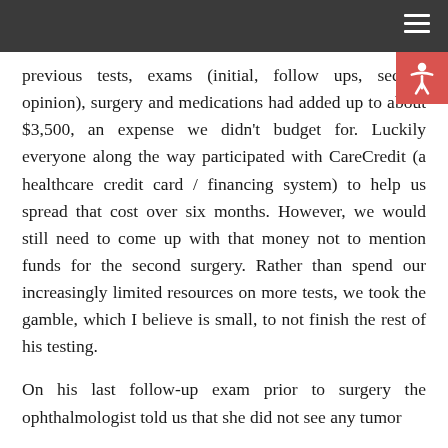previous tests, exams (initial, follow ups, second opinion), surgery and medications had added up to about $3,500, an expense we didn't budget for. Luckily everyone along the way participated with CareCredit (a healthcare credit card / financing system) to help us spread that cost over six months. However, we would still need to come up with that money not to mention funds for the second surgery. Rather than spend our increasingly limited resources on more tests, we took the gamble, which I believe is small, to not finish the rest of his testing.
On his last follow-up exam prior to surgery the ophthalmologist told us that she did not see any tumor